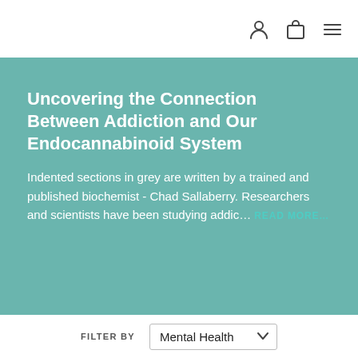Uncovering the Connection Between Addiction and Our Endocannabinoid System
Indented sections in grey are written by a trained and published biochemist - Chad Sallaberry. Researchers and scientists have been studying addic... READ MORE...
FILTER BY  Mental Health